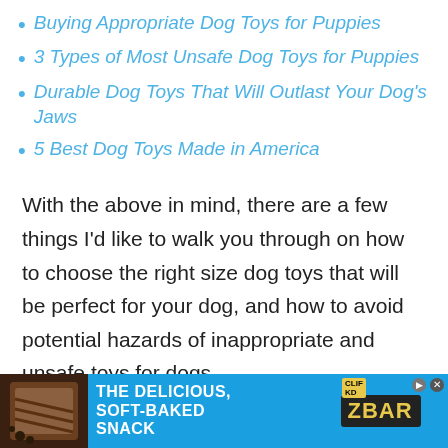Buying Appropriate Dog Toys for Puppies
3 Types of Most Unsafe Dog Toys for Puppies
Durable Dog Toys That Will Outlast Your Dog's Jaws
5 Best Dog Toys Made in America
With the above in mind, there are a few things I'd like to walk you through on how to choose the right size dog toys that will be perfect for your dog, and how to avoid potential hazards of inappropriate and unsafe toys for dogs.
[Figure (other): Advertisement banner for CLIF KID ZBAR snack bar: 'The Delicious, Soft-Baked Snack' with blue background and snack bar imagery]